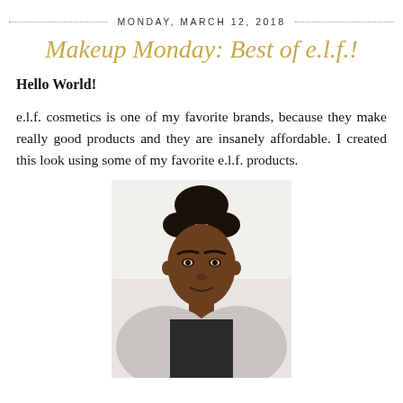MONDAY, MARCH 12, 2018
Makeup Monday: Best of e.l.f.!
Hello World!
e.l.f. cosmetics is one of my favorite brands, because they make really good products and they are insanely affordable. I created this look using some of my favorite e.l.f. products.
[Figure (photo): A young Black woman with her hair in a bun, wearing makeup, looking at the camera slightly from the side. She has on a dark shirt and a light cardigan. The background is white.]